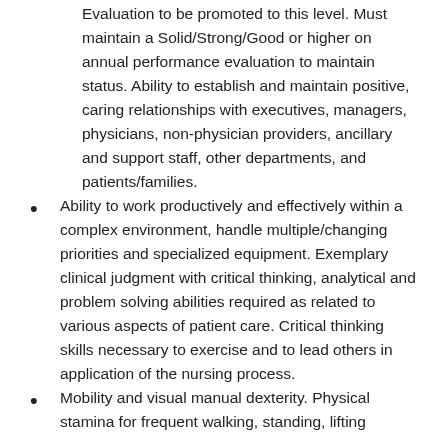Evaluation to be promoted to this level. Must maintain a Solid/Strong/Good or higher on annual performance evaluation to maintain status. Ability to establish and maintain positive, caring relationships with executives, managers, physicians, non-physician providers, ancillary and support staff, other departments, and patients/families.
Ability to work productively and effectively within a complex environment, handle multiple/changing priorities and specialized equipment. Exemplary clinical judgment with critical thinking, analytical and problem solving abilities required as related to various aspects of patient care. Critical thinking skills necessary to exercise and to lead others in application of the nursing process.
Mobility and visual manual dexterity. Physical stamina for frequent walking, standing, lifting